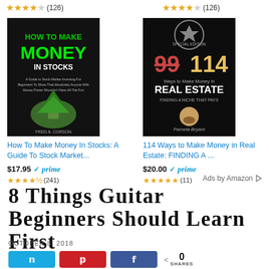★★★★☆ (126)  ★★★★☆ (126)
[Figure (illustration): Book cover: How To Make Money In Stocks - dark background with green text and hand holding money growing from soil]
How To Make Money In Stocks: A Guide To Stock Market... $17.95 ✓prime ★★★★½ (241)
[Figure (illustration): Book cover: 114 Ways to Make Money in Real Estate FINDING A NICHE THAT PAYS - dark cover with gold numbers 99 struck through and 114, author Pamela Bryant]
114 Ways to Make Money in Real Estate: FINDING A ... $20.00 ✓prime ★★★★★ (11)
Ads by Amazon ▷
8 Things Guitar Beginners Should Learn First
OCTOBER 8, 2018
N  A  f  < 0 SHARES